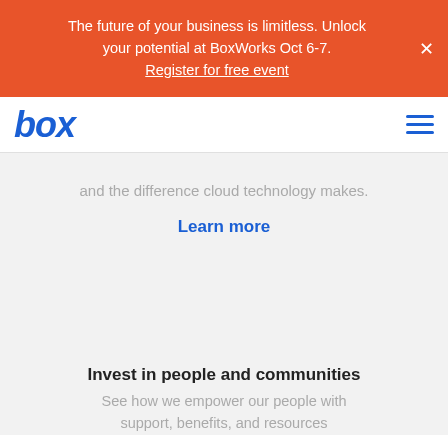The future of your business is limitless. Unlock your potential at BoxWorks Oct 6-7. Register for free event
[Figure (logo): Box company logo in blue italic text]
and the difference cloud technology makes.
Learn more
Invest in people and communities
See how we empower our people with support, benefits, and resources